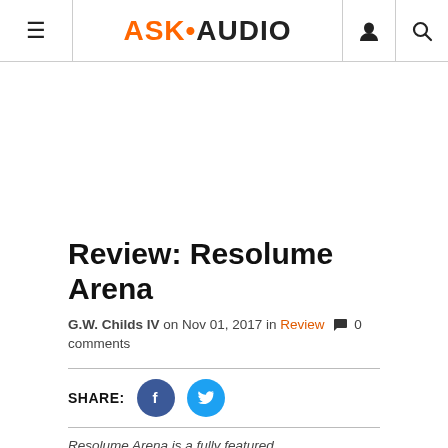ASK•AUDIO
[Figure (other): Blank white advertisement area]
Review: Resolume Arena
G.W. Childs IV on Nov 01, 2017 in Review 🗨 0 comments
[Figure (other): Share buttons: Facebook (blue circle with f) and Twitter (light blue circle with bird icon)]
Resolume Arena is a fully featured